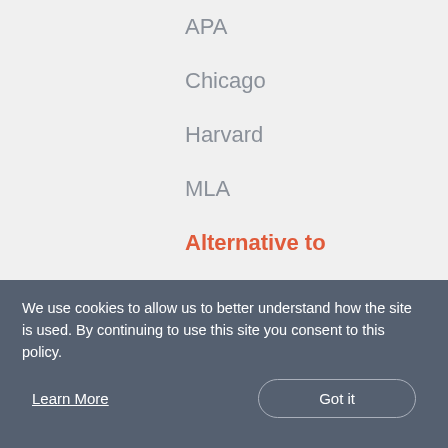APA
Chicago
Harvard
MLA
Alternative to
KnightCite
NoodleTools
We use cookies to allow us to better understand how the site is used. By continuing to use this site you consent to this policy.
Learn More
Got it